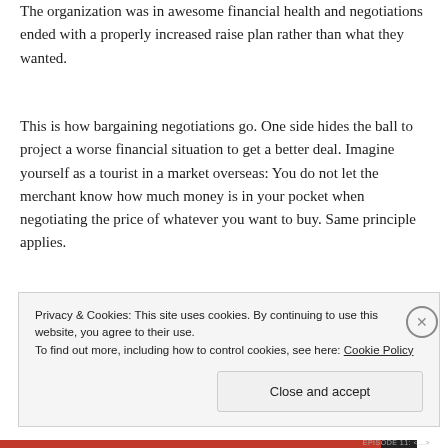The organization was in awesome financial health and negotiations ended with a properly increased raise plan rather than what they wanted.
This is how bargaining negotiations go. One side hides the ball to project a worse financial situation to get a better deal. Imagine yourself as a tourist in a market overseas: You do not let the merchant know how much money is in your pocket when negotiating the price of whatever you want to buy. Same principle applies.
MLS LLC was the stand-alone umbrella corporation for
Privacy & Cookies: This site uses cookies. By continuing to use this website, you agree to their use.
To find out more, including how to control cookies, see here: Cookie Policy
Close and accept